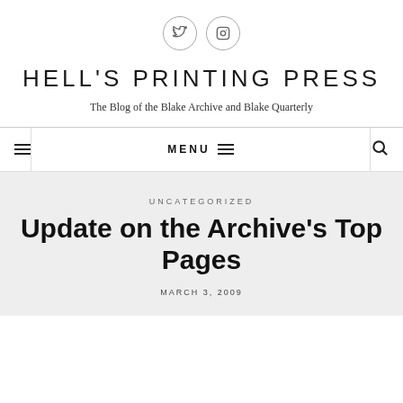Twitter and Instagram social icons
HELL'S PRINTING PRESS
The Blog of the Blake Archive and Blake Quarterly
MENU
UNCATEGORIZED
Update on the Archive's Top Pages
MARCH 3, 2009